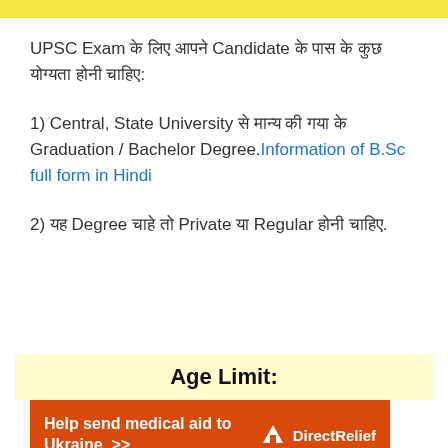UPSC Exam के लिए आपने Candidate के पास के कुछ योग्यता होनी चाहिए:
1) Central, State University से मान्य की गया के Graduation / Bachelor Degree. Information of B.Sc full form in Hindi
2) यह Degree चाहे तो Private या Regular होनी चाहिए.
Age Limit:
[Figure (other): Advertisement banner: Help send medical aid to Ukraine >> Direct Relief]